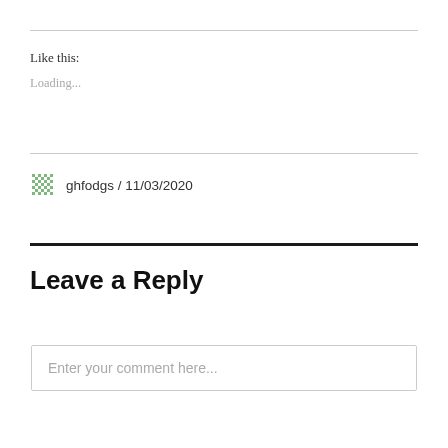Like this:
Loading...
ghfodgs / 11/03/2020
Leave a Reply
Enter your comment here...